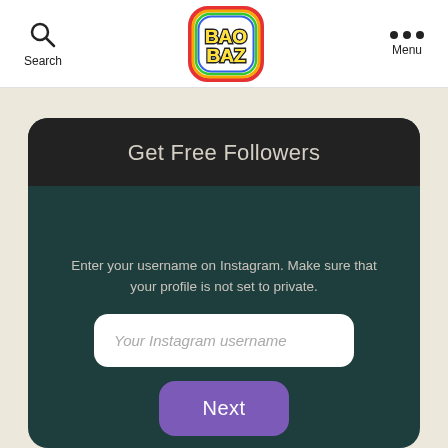[Figure (logo): BaoBaz logo with colorful bubble letters on a rounded square badge with rainbow border]
Search   Menu
Get Free Followers
Enter your username on Instagram. Make sure that your profile is not set to private.
Your Instagram username
Next